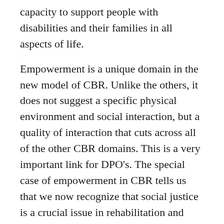capacity to support people with disabilities and their families in all aspects of life.
Empowerment is a unique domain in the new model of CBR. Unlike the others, it does not suggest a specific physical environment and social interaction, but a quality of interaction that cuts across all of the other CBR domains. This is a very important link for DPO’s. The special case of empowerment in CBR tells us that we now recognize that social justice is a crucial issue in rehabilitation and perhaps the greatest barrier to full community inclusion. It also suggests that individual